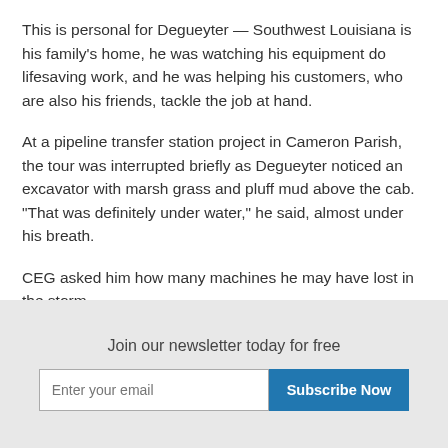This is personal for Degueyter — Southwest Louisiana is his family's home, he was watching his equipment do lifesaving work, and he was helping his customers, who are also his friends, tackle the job at hand.
At a pipeline transfer station project in Cameron Parish, the tour was interrupted briefly as Degueyter noticed an excavator with marsh grass and pluff mud above the cab. "That was definitely under water," he said, almost under his breath.
CEG asked him how many machines he may have lost in the storm.
Join our newsletter today for free
Enter your email
Subscribe Now